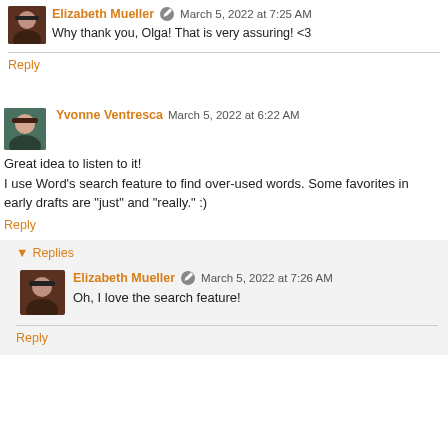Elizabeth Mueller · March 5, 2022 at 7:25 AM · Why thank you, Olga! That is very assuring! <3
Reply
Yvonne Ventresca · March 5, 2022 at 6:22 AM · Great idea to listen to it! I use Word's search feature to find over-used words. Some favorites in early drafts are "just" and "really." :)
Reply
Replies
Elizabeth Mueller · March 5, 2022 at 7:26 AM · Oh, I love the search feature!
Reply